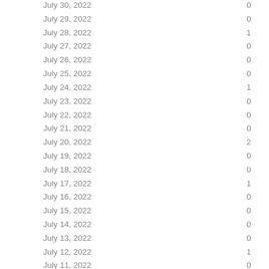| Date | Count |
| --- | --- |
| July 30, 2022 | 0 |
| July 29, 2022 | 0 |
| July 28, 2022 | 1 |
| July 27, 2022 | 0 |
| July 26, 2022 | 0 |
| July 25, 2022 | 0 |
| July 24, 2022 | 1 |
| July 23, 2022 | 0 |
| July 22, 2022 | 0 |
| July 21, 2022 | 0 |
| July 20, 2022 | 2 |
| July 19, 2022 | 0 |
| July 18, 2022 | 0 |
| July 17, 2022 | 1 |
| July 16, 2022 | 0 |
| July 15, 2022 | 0 |
| July 14, 2022 | 0 |
| July 13, 2022 | 0 |
| July 12, 2022 | 1 |
| July 11, 2022 | 0 |
| July 10, 2022 | 1 |
| July 9, 2022 | 1 |
| July 8, 2022 | 0 |
| July 7, 2022 | 0 |